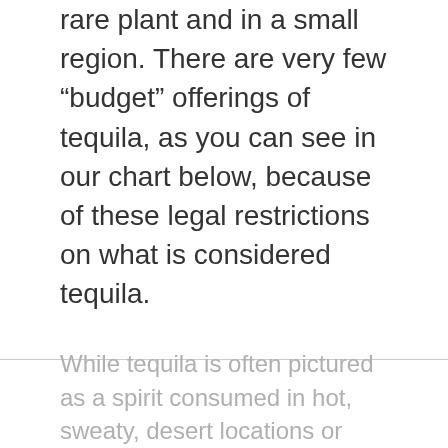rare plant and in a small region. There are very few “budget” offerings of tequila, as you can see in our chart below, because of these legal restrictions on what is considered tequila.
While tequila is often pictured as a spirit consumed in hot, sweaty, desert locations or